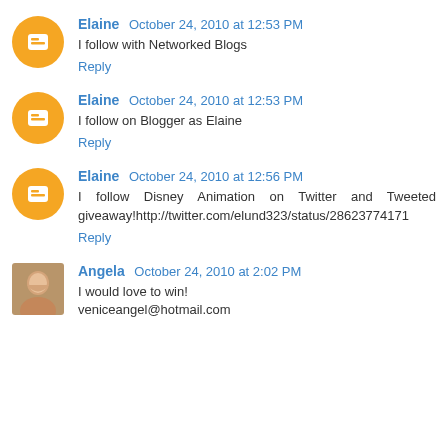Elaine October 24, 2010 at 12:53 PM
I follow with Networked Blogs
Reply
Elaine October 24, 2010 at 12:53 PM
I follow on Blogger as Elaine
Reply
Elaine October 24, 2010 at 12:56 PM
I follow Disney Animation on Twitter and Tweeted giveaway!http://twitter.com/elund323/status/28623774171
Reply
Angela October 24, 2010 at 2:02 PM
I would love to win!
veniceangel@hotmail.com